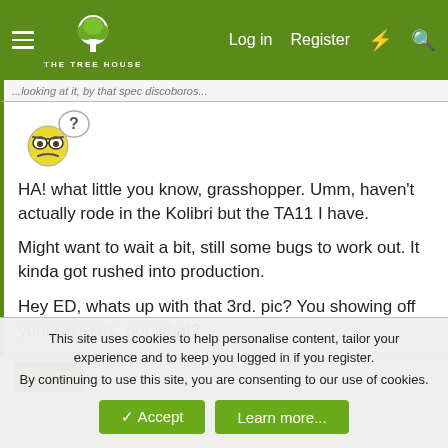THE TREE HOUSE — Log in | Register
HA! what little you know, grasshopper. Umm, haven't actually rode in the Kolibri but the TA11 I have.

Might want to wait a bit, still some bugs to work out. It kinda got rushed into production.

Hey ED, whats up with that 3rd. pic? You showing off your (ass)ets, oor what?
This site uses cookies to help personalise content, tailor your experience and to keep you logged in if you register.
By continuing to use this site, you are consenting to our use of cookies.